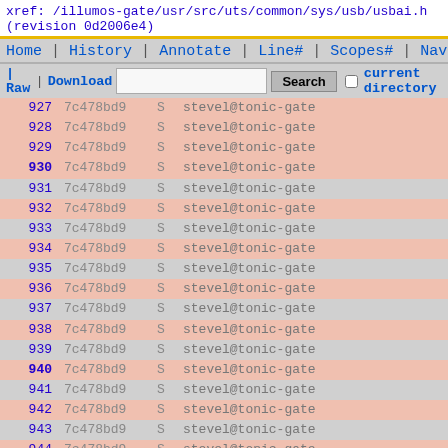xref: /illumos-gate/usr/src/uts/common/sys/usb/usbai.h
(revision 0d2006e4)
Home | History | Annotate | Line# | Scopes# | Navigate#
| Raw | Download   [Search]  current directory
| line | revision | type | author |
| --- | --- | --- | --- |
| 927 | 7c478bd9 | S | stevel@tonic-gate |
| 928 | 7c478bd9 | S | stevel@tonic-gate |
| 929 | 7c478bd9 | S | stevel@tonic-gate |
| 930 | 7c478bd9 | S | stevel@tonic-gate |
| 931 | 7c478bd9 | S | stevel@tonic-gate |
| 932 | 7c478bd9 | S | stevel@tonic-gate |
| 933 | 7c478bd9 | S | stevel@tonic-gate |
| 934 | 7c478bd9 | S | stevel@tonic-gate |
| 935 | 7c478bd9 | S | stevel@tonic-gate |
| 936 | 7c478bd9 | S | stevel@tonic-gate |
| 937 | 7c478bd9 | S | stevel@tonic-gate |
| 938 | 7c478bd9 | S | stevel@tonic-gate |
| 939 | 7c478bd9 | S | stevel@tonic-gate |
| 940 | 7c478bd9 | S | stevel@tonic-gate |
| 941 | 7c478bd9 | S | stevel@tonic-gate |
| 942 | 7c478bd9 | S | stevel@tonic-gate |
| 943 | 7c478bd9 | S | stevel@tonic-gate |
| 944 | 7c478bd9 | S | stevel@tonic-gate |
| 945 | 7c478bd9 | S | stevel@tonic-gate |
| 946 | 7c478bd9 | S | stevel@tonic-gate |
| 947 | 7c478bd9 | S | stevel@tonic-gate |
| 948 | 7c478bd9 | S | stevel@tonic-gate |
| 949 | 7c478bd9 | S | stevel@tonic-gate |
| 950 | 7c478bd9 | S | stevel@tonic-gate |
| 951 | 7c478bd9 | S | stevel@tonic-gate |